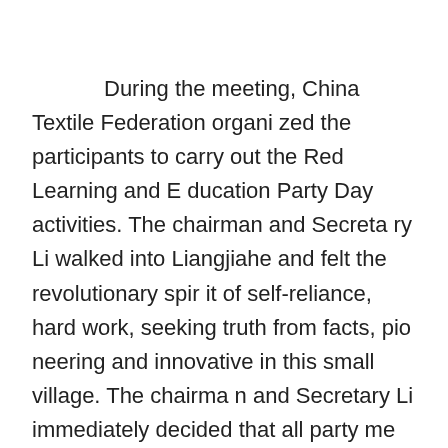During the meeting, China Textile Federation organized the participants to carry out the Red Learning and Education Party Day activities. The chairman and Secretary Li walked into Liangjiahe and felt the revolutionary spirit of self-reliance, hard work, seeking truth from facts, pioneering and innovative in this small village. The chairman and Secretary Li immediately decided that all party members of Baofang must walk the road of the Red Revolution and thoroughly study and understand the spirit of Yan'an and Liang Jiahe's university questions.